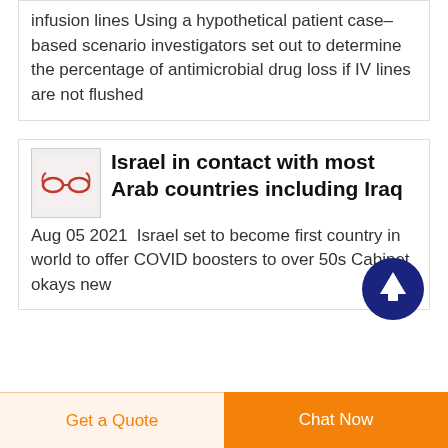infusion lines Using a hypothetical patient case–based scenario investigators set out to determine the percentage of antimicrobial drug loss if IV lines are not flushed
Israel in contact with most Arab countries including Iraq
Aug 05 2021  Israel set to become first country in world to offer COVID boosters to over 50s Cabinet okays new
Get a Quote   Chat Now